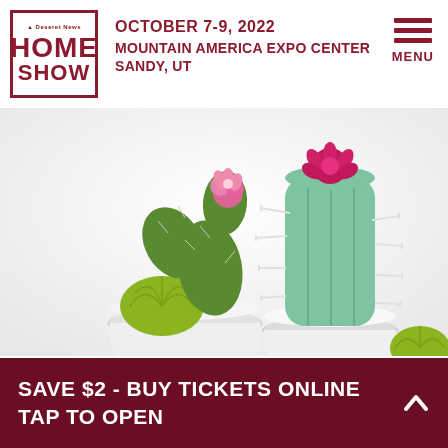[Figure (logo): Deseret News HOME SHOW logo in dark red/maroon square border]
OCTOBER 7-9, 2022
MOUNTAIN AMERICA EXPO CENTER
SANDY, UT
[Figure (illustration): Three felt cactus pin cushions in white ceramic pots with colorful felt flowers on top, decorative pins inserted, white background]
SAVE $2 - BUY TICKETS ONLINE
TAP TO OPEN